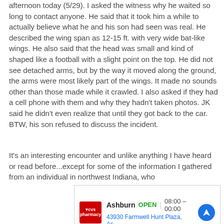afternoon today (5/29). I asked the witness why he waited so long to contact anyone. He said that it took him a while to actually believe what he and his son had seen was real. He described the wing span as 12-15 ft. with very wide bat-like wings. He also said that the head was small and kind of shaped like a football with a slight point on the top. He did not see detached arms, but by the way it moved along the ground, the arms were most likely part of the wings. It made no sounds other than those made while it crawled. I also asked if they had a cell phone with them and why they hadn't taken photos. JK said he didn't even realize that until they got back to the car. BTW, his son refused to discuss the incident.
It's an interesting encounter and unlike anything I have heard or read before...except for some of the information I gathered from an individual in northwest Indiana, who
[Figure (other): CVS Pharmacy advertisement showing store location in Ashburn, OPEN 08:00-00:00, address 43930 Farmwell Hunt Plaza, As... with navigation icon]